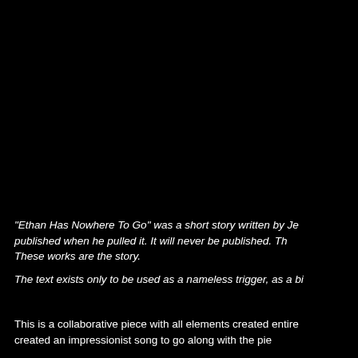[Figure (photo): Large black rectangle occupying the upper portion of the page]
"Ethan Has Nowhere To Go" was a short story written by Je published when he pulled it. It will never be published. Th These works are the story.
The text exists only to be used as a nameless trigger, as a bi
This is a collaborative piece with all elements created entire created an impressionist song to go along with the pie